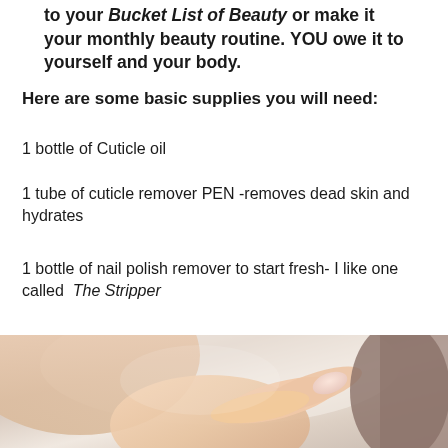to your Bucket List of Beauty or make it your monthly beauty routine. YOU owe it to yourself and your body.
Here are some basic supplies you will need:
1 bottle of Cuticle oil
1 tube of cuticle remover PEN -removes dead skin and hydrates
1 bottle of nail polish remover to start fresh- I like one called  The Stripper
[Figure (photo): Close-up photo of a person's hands, showing fingernails and cuticles being examined or treated, with a blurred light background.]